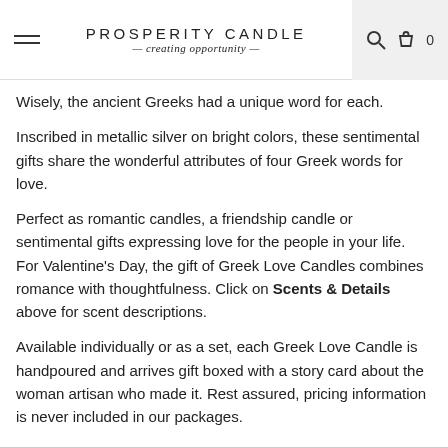PROSPERITY CANDLE — creating opportunity —
Wisely, the ancient Greeks had a unique word for each.
Inscribed in metallic silver on bright colors, these sentimental gifts share the wonderful attributes of four Greek words for love.
Perfect as romantic candles, a friendship candle or sentimental gifts expressing love for the people in your life. For Valentine's Day, the gift of Greek Love Candles combines romance with thoughtfulness. Click on Scents & Details above for scent descriptions.
Available individually or as a set, each Greek Love Candle is handpoured and arrives gift boxed with a story card about the woman artisan who made it. Rest assured, pricing information is never included in our packages.